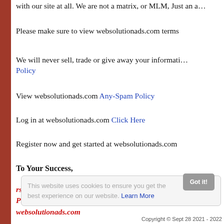with our site at all. We are not a matrix, or MLM, Just an a…
Please make sure to view websolutionads.com terms
We will never sell, trade or give away your informati… Policy
View websolutionads.com Any-Spam Policy
Log in at websolutionads.com Click Here
Register now and get started at websolutionads.com
To Your Success,
rsnenterprises
President and CEO
websolutionads.com
This website uses cookies to ensure you get the best experience on our website. Learn More
Copyright © Sept 28 2021 - 2022